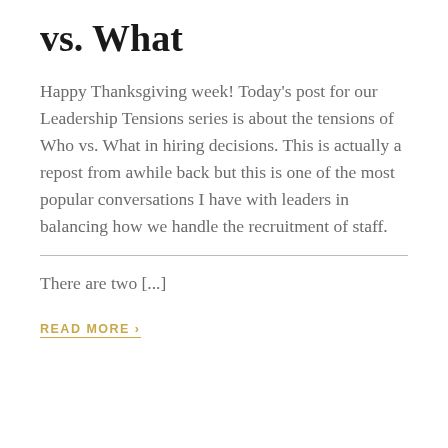vs. What
Happy Thanksgiving week! Today’s post for our Leadership Tensions series is about the tensions of Who vs. What in hiring decisions.  This is actually a repost from awhile back but this is one of the most popular conversations I have with leaders in balancing how we handle the recruitment of staff.
There are two [...]
READ MORE ›